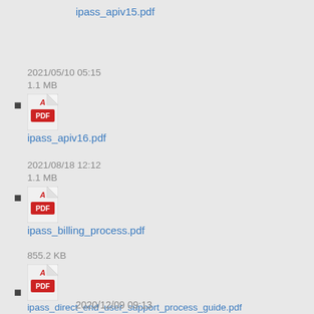ipass_apiv15.pdf
2021/05/10 05:15
1.1 MB
ipass_apiv16.pdf
2021/08/18 12:12
1.1 MB
ipass_billing_process.pdf
2013/11/06 22:35
855.2 KB
ipass_direct_end_user_support_process_guide.pdf
2020/12/09 09:13